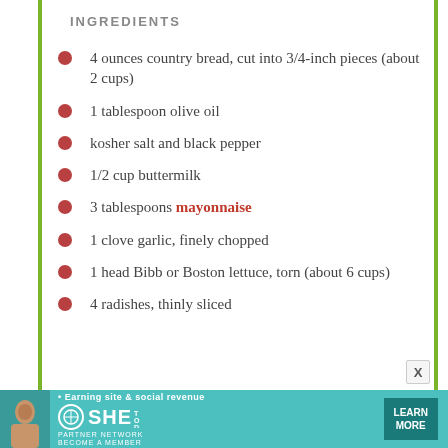INGREDIENTS
4 ounces country bread, cut into 3/4-inch pieces (about 2 cups)
1 tablespoon olive oil
kosher salt and black pepper
1/2 cup buttermilk
3 tablespoons mayonnaise
1 clove garlic, finely chopped
1 head Bibb or Boston lettuce, torn (about 6 cups)
4 radishes, thinly sliced
[Figure (infographic): Advertisement banner for SHE Media Partner Network with text: Earning site & social revenue, LEARN MORE button]